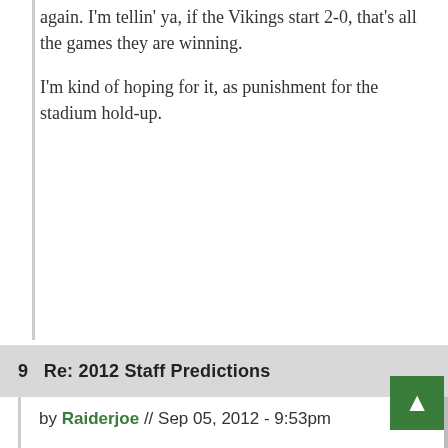again. I'm tellin' ya, if the Vikings start 2-0, that's all the games they are winning.
I'm kind of hoping for it, as punishment for the stadium hold-up.
9  Re: 2012 Staff Predictions
by Raiderjoe // Sep 05, 2012 - 9:53pm
Super Bowel 47
Raiders 34, Betas 20
MVp super Bowl Darren McFadden
Regular season mvl- Aaron Rodgers
Defensive player f the year- nick barnett